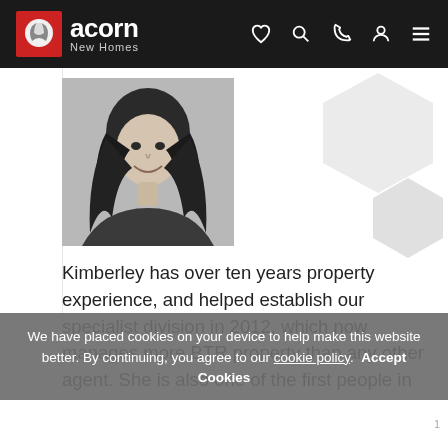acorn New Homes — navigation bar with logo and icons
[Figure (photo): Black and white headshot photo of Kimberley, a woman with long wavy dark hair, smiling]
Kimberley has over ten years property experience, and helped establish our specialist division in 2012, which now manages more BTR property than any other agent. She is also one of the first people in the UK to receive the IRPM
We have placed cookies on your device to help make this website better. By continuing, you agree to our cookie policy. Accept Cookies